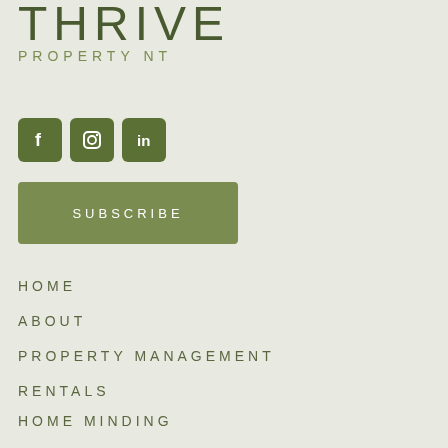THRIVE PROPERTY NT
[Figure (logo): Social media icons: Facebook, Instagram, LinkedIn — dark green square buttons]
SUBSCRIBE
HOME
ABOUT
PROPERTY MANAGEMENT
RENTALS
HOME MINDING
BLOG